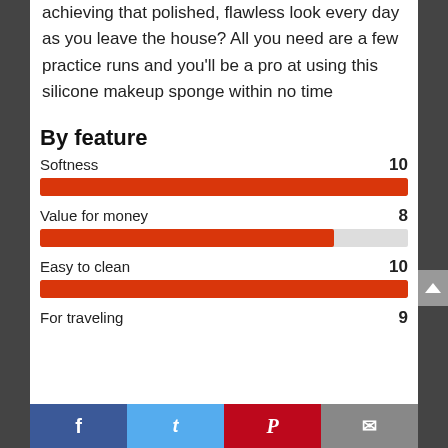achieving that polished, flawless look every day as you leave the house? All you need are a few practice runs and you'll be a pro at using this silicone makeup sponge within no time
By feature
[Figure (bar-chart): By feature]
Facebook | Twitter | Pinterest | Email